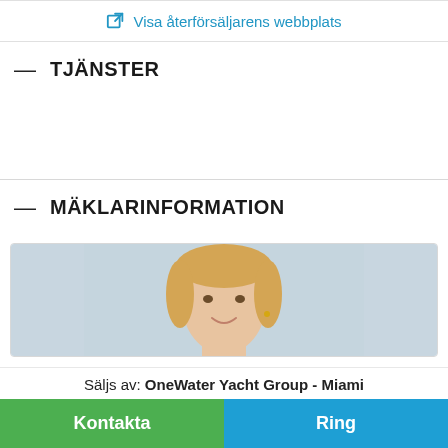Visa återförsäljarens webbplats
TJÄNSTER
MÄKLARINFORMATION
[Figure (photo): Headshot of a smiling blonde woman against a light blue-grey background]
Säljs av: OneWater Yacht Group - Miami
Kontakta
Ring